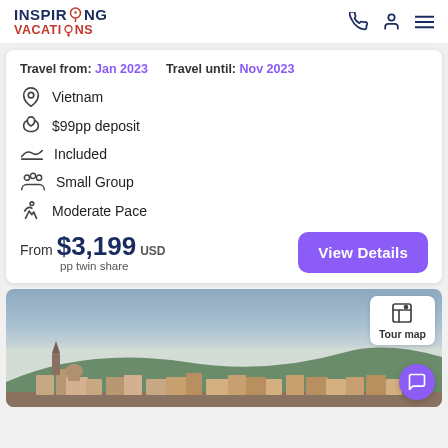Inspiring Vacations
Travel from: Jan 2023   Travel until: Nov 2023
Vietnam
$99pp deposit
Included
Small Group
Moderate Pace
From $3,199 USD pp twin share
[Figure (photo): Cityscape photo showing historic European city with church spires, castle on hill, and rooftops under a grey-blue sky]